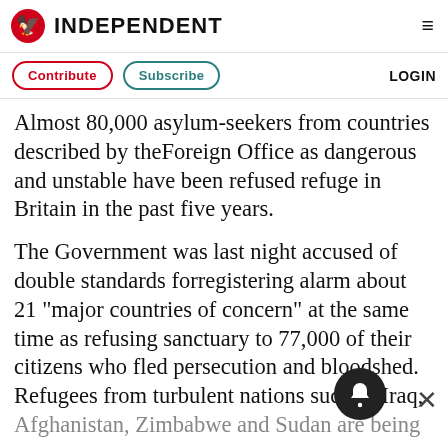INDEPENDENT
Contribute  Subscribe  LOGIN
Almost 80,000 asylum-seekers from countries described by theForeign Office as dangerous and unstable have been refused refuge in Britain in the past five years.
The Government was last night accused of double standards forregistering alarm about 21 "major countries of concern" at the same time as refusing sanctuary to 77,000 of their citizens who fled persecution and bloodshed. Refugees from turbulent nations such as Iraq, Afghanistan, Zimbabwe and Sudan are being